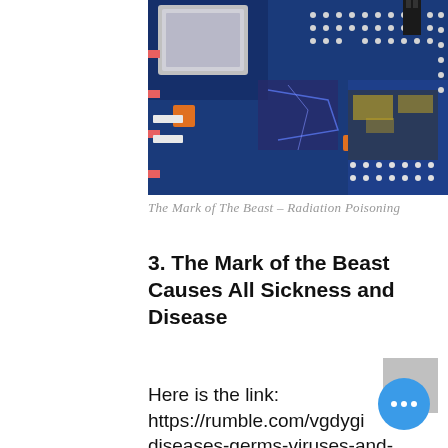[Figure (photo): Close-up photo of a blue printed circuit board (PCB) with electronic components, solder points, chips, and circuit traces visible. A metallic shield/cover is visible on the upper left portion.]
The Mark of The Beast – Radiation Poisoning
3.  The Mark of the Beast Causes All Sickness and Disease
Here is the link: https://rumble.com/vgdygi diseases-germs-viruses-and- vaccinations.html